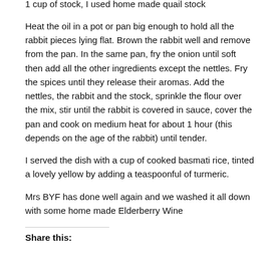1 cup of stock, I used home made quail stock
Heat the oil in a pot or pan big enough to hold all the rabbit pieces lying flat. Brown the rabbit well and remove from the pan. In the same pan, fry the onion until soft then add all the other ingredients except the nettles. Fry the spices until they release their aromas. Add the nettles, the rabbit and the stock, sprinkle the flour over the mix, stir until the rabbit is covered in sauce, cover the pan and cook on medium heat for about 1 hour (this depends on the age of the rabbit) until tender.
I served the dish with a cup of cooked basmati rice, tinted a lovely yellow by adding a teaspoonful of turmeric.
Mrs BYF has done well again and we washed it all down with some home made Elderberry Wine
Share this: